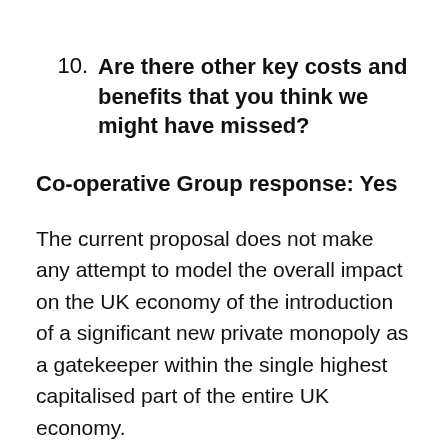10. Are there other key costs and benefits that you think we might have missed?
Co-operative Group response: Yes
The current proposal does not make any attempt to model the overall impact on the UK economy of the introduction of a significant new private monopoly as a gatekeeper within the single highest capitalised part of the entire UK economy.
We believe, along with the Competition and